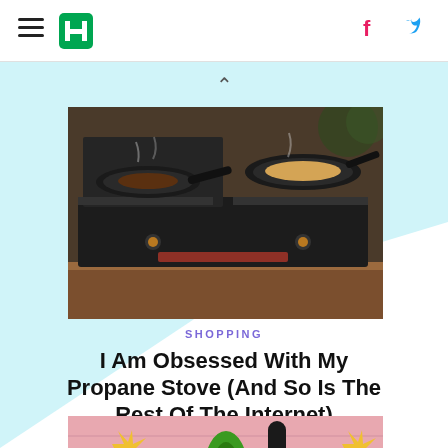HuffPost navigation header with hamburger menu, logo, Facebook and Twitter icons
[Figure (photo): Two cast iron skillets cooking food on a dark Coleman propane camp stove on a wooden table outdoors]
SHOPPING
I Am Obsessed With My Propane Stove (And So Is The Rest Of The Internet)
[Figure (photo): Colorful illustration with yellow sunburst, green and black shapes on pink background]